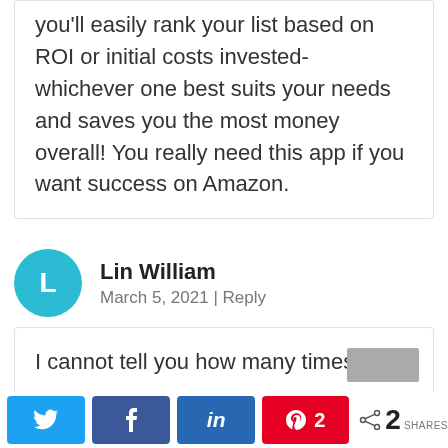you'll easily rank your list based on ROI or initial costs invested- whichever one best suits your needs and saves you the most money overall! You really need this app if you want success on Amazon.
Lin William
March 5, 2021 | Reply
I cannot tell you how many times I